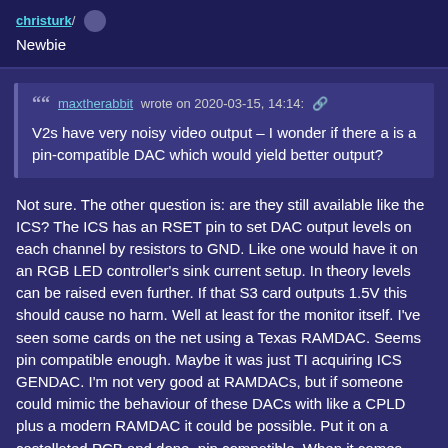christurk / Newbie
maxtherabbit wrote on 2020-03-15, 14:14: V2s have very noisy video output - I wonder if there a is a pin-compatible DAC which would yield better output?
Not sure. The other question is: are they still available like the ICS? The ICS has an RSET pin to set DAC output levels on each channel by resistors to GND. Like one would have it on an RGB LED controller's sink current setup. In theory levels can be raised even further. If that S3 card outputs 1.5V this should cause no harm. Well at least for the monitor itself. I've seen some cards on the net using a Texas RAMDAC. Seems pin compatible enough. Maybe it was just TI acquiring ICS GENDAC. I'm not very good at RAMDACs, but if someone could mimic the behaviour of these DACs with like a CPLD plus a modern RAMDAC it could be possible. Put it on a castellated PCB and done, pin compatible. When it comes